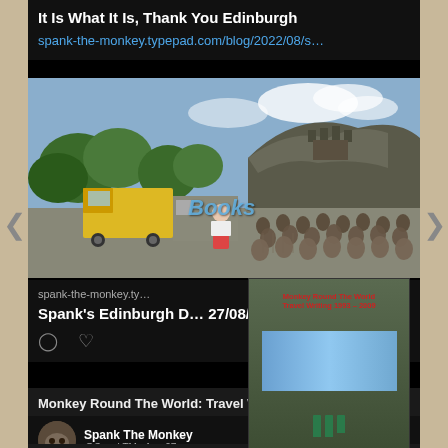It Is What It Is, Thank You Edinburgh
spank-the-monkey.typepad.com/blog/2022/08/s…
[Figure (photo): Outdoor event in Edinburgh with a crowd seated in chairs, a woman in red skirt presenting, a yellow truck/van visible, and Edinburgh Castle on the hill in the background. Text 'Books' overlaid in blue italic.]
spank-the-monkey.ty…
Spank's Edinburgh D… 27/08/2022
[Figure (photo): Book cover for 'Monkey Round The World: Travel Writing 1993-2009' by Spank The Monkey, showing a hotel room window view with bottles.]
Monkey Round The World: Travel Writing 1993-2009
Spank The Monkey
@SpankTM · Aug 27
Day 7 of Edinburgh…